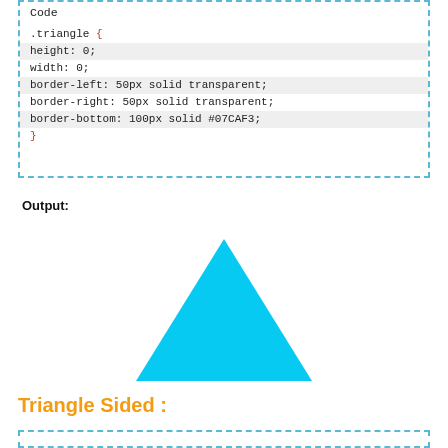Code
.triangle {
  height: 0;
  width: 0;
  border-left: 50px solid transparent;
  border-right: 50px solid transparent;
  border-bottom: 100px solid #07CAF3;
}
Output:
[Figure (illustration): A solid cyan/sky-blue upward-pointing triangle rendered via CSS border trick with color #07CAF3]
Triangle Sided :